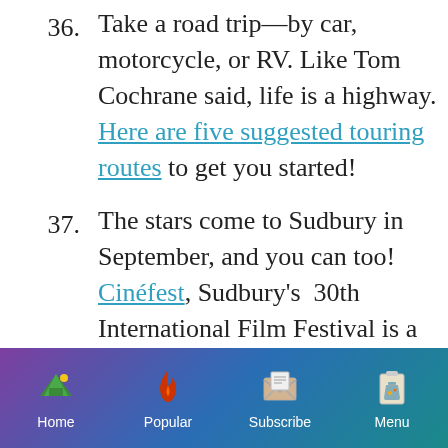36. Take a road trip—by car, motorcycle, or RV. Like Tom Cochrane said, life is a highway. Here are five suggested touring routes to get you started!
37. The stars come to Sudbury in September, and you can too! Cinéfest, Sudbury's 30th International Film Festival is a great way to say goodbye to summer.
------------------------------
[Figure (screenshot): Mobile app navigation bar with gradient purple-to-teal background, showing four icons: Home (tent with sun), Popular (flame), Subscribe (envelope), Menu (clipboard with flask)]